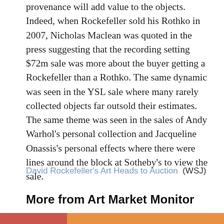provenance will add value to the objects. Indeed, when Rockefeller sold his Rothko in 2007, Nicholas Maclean was quoted in the press suggesting that the recording setting $72m sale was more about the buyer getting a Rockefeller than a Rothko. The same dynamic was seen in the YSL sale where many rarely collected objects far outsold their estimates. The same theme was seen in the sales of Andy Warhol's personal collection and Jacqueline Onassis's personal effects where there were lines around the block at Sotheby's to view the sale.
David Rockefeller's Art Heads to Auction (WSJ)
More from Art Market Monitor